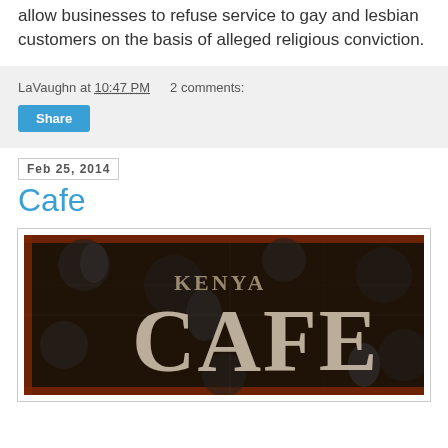allow businesses to refuse service to gay and lesbian customers on the basis of alleged religious conviction.
LaVaughn at 10:47 PM   2 comments:
Share
Feb 25, 2014
Cafe
[Figure (photo): Decorative cafe sign with 'KENYA CAFE' text in large letters on dark background with fleur-de-lis pattern and rust-colored border]